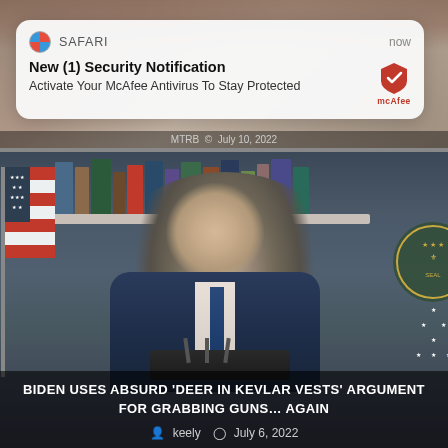[Figure (screenshot): Safari push notification overlay on top of a background image. Notification reads: 'New (1) Security Notification — Activate Your McAfee Antivirus To Stay Protected' with McAfee logo on right. Time shows 'now'.]
SAFARI now
New (1) Security Notification
Activate Your McAfee Antivirus To Stay Protected
[Figure (photo): Photo of Joe Biden in a navy suit at a podium with US flag on left and Presidential seal on right, bookshelf in background. Overlay text at bottom reads: BIDEN USES ABSURD 'DEER IN KEVLAR VESTS' ARGUMENT FOR GRABBING GUNS... AGAIN]
BIDEN USES ABSURD 'DEER IN KEVLAR VESTS' ARGUMENT FOR GRABBING GUNS... AGAIN
keely  July 6, 2022